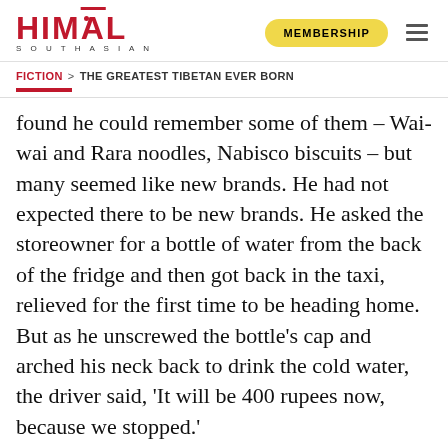HIMAL SOUTHASIAN | MEMBERSHIP
FICTION > THE GREATEST TIBETAN EVER BORN
found he could remember some of them – Wai-wai and Rara noodles, Nabisco biscuits – but many seemed like new brands. He had not expected there to be new brands. He asked the storeowner for a bottle of water from the back of the fridge and then got back in the taxi, relieved for the first time to be heading home. But as he unscrewed the bottle’s cap and arched his neck back to drink the cold water, the driver said, ‘It will be 400 rupees now, because we stopped.’